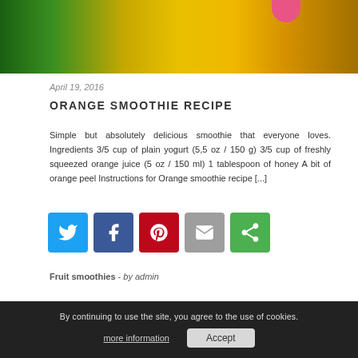[Figure (photo): Person holding an orange smoothie glass against a green outdoor background, with pink painted nails visible]
April 19, 2016
ORANGE SMOOTHIE RECIPE
Simple but absolutely delicious smoothie that everyone loves. Ingredients 3/5 cup of plain yogurt (5,5 oz / 150 g) 3/5 cup of freshly squeezed orange juice (5 oz / 150 ml) 1 tablespoon of honey A bit of orange peel Instructions for Orange smoothie recipe [...]
[Figure (infographic): Social sharing icons: Twitter (blue), Facebook (dark blue), Pinterest (red), Email (grey), More options (green)]
Fruit smoothies  -  by admin
By continuing to use the site, you agree to the use of cookies.
more information   Accept